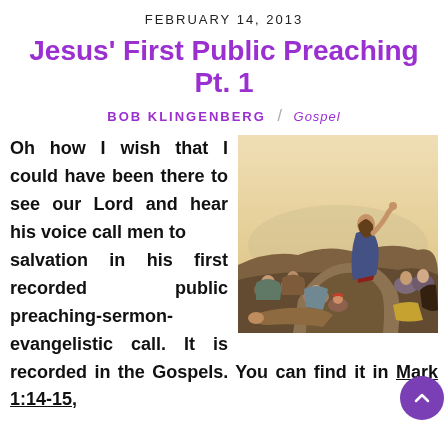FEBRUARY 14, 2013
Jesus' First Public Preaching Pt. 1
BOB KLINGENBERG / Gospel
[Figure (illustration): Classical oil painting of Jesus preaching on a rock to a gathered crowd of people, Jesus raising one hand upward.]
Oh how I wish that I could have been there to see our Lord and hear his voice call men to salvation in his first recorded public preaching-sermon-evangelistic call. It is recorded in the Gospels. You can find it in Mark 1:14-15,